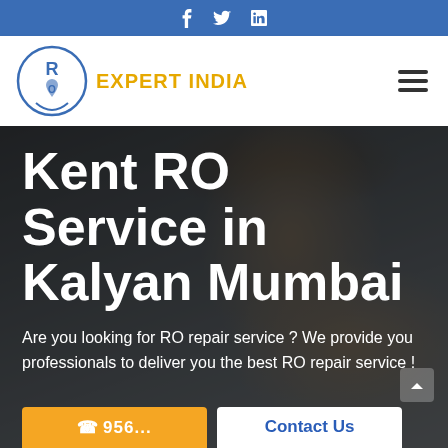f  twitter  in
[Figure (logo): RO Expert India circular logo with water drop and text EXPERT INDIA in gold/orange]
Kent RO Service in Kalyan Mumbai
Are you looking for RO repair service ? We provide you professionals to deliver you the best RO repair service !